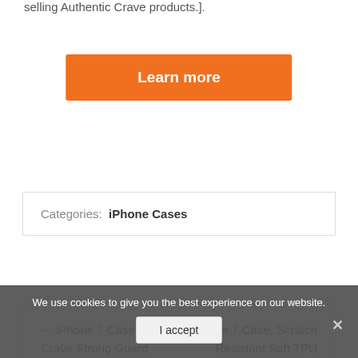selling Authentic Crave products.].
Learn more
Categories: iPhone Cases
← iPhone 7 Case, Crave Strong Guard Protection Series Case for Apple iPhone 7 (4.7 Inch) – Black
iPhone 7 Case, Scratch Resistant Soft TPU Ultra Slim Lightweigh Crystal Clear Transparent Case for Apple iPhone 7 All Carriers
We use cookies to give you the best experience on our website.
I accept